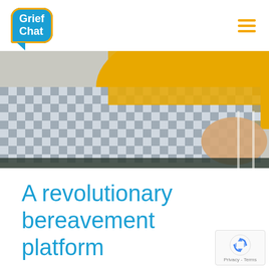[Figure (logo): GriefChat logo: blue speech bubble with white text 'Grief Chat' and yellow border outline, with a yellow tail at bottom left]
[Figure (photo): Close-up photo of two people holding hands, one wearing a yellow top and the other wearing a blue and white gingham/checked pattern shirt]
A revolutionary bereavement platform
[Figure (other): Google reCAPTCHA badge with recycling arrows icon and 'Privacy - Terms' text below]